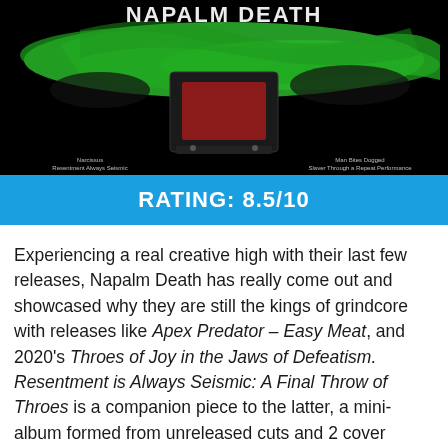[Figure (photo): Album cover for Napalm Death 'Resentment is Always Seismic: A Final Throw of Throes' - black background with green graphic elements and text, showing a TV/monitor in the center]
RATING: 8.5/10
Experiencing a real creative high with their last few releases, Napalm Death has really come out and showcased why they are still the kings of grindcore with releases like Apex Predator – Easy Meat, and 2020's Throes of Joy in the Jaws of Defeatism. Resentment is Always Seismic: A Final Throw of Throes is a companion piece to the latter, a mini-album formed from unreleased cuts and 2 cover songs. While these sort of post-album mini-releases can be hit or miss, Resentment quickly proves itself to be a worthy addition to the lengthy Napalm Death